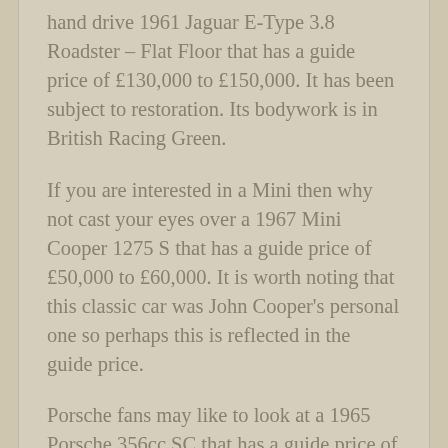hand drive 1961 Jaguar E-Type 3.8 Roadster – Flat Floor that has a guide price of £130,000 to £150,000. It has been subject to restoration. Its bodywork is in British Racing Green.
If you are interested in a Mini then why not cast your eyes over a 1967 Mini Cooper 1275 S that has a guide price of £50,000 to £60,000. It is worth noting that this classic car was John Cooper's personal one so perhaps this is reflected in the guide price.
Porsche fans may like to look at a 1965 Porsche 356cc SC that has a guide price of £50,000 to £60,000. This classic sports car has been completely recommissioned since 2019. Apparently, it has a Porsche Certificate of Authenticity.
How about a 1969 Alfa Romeo 1750 Spider